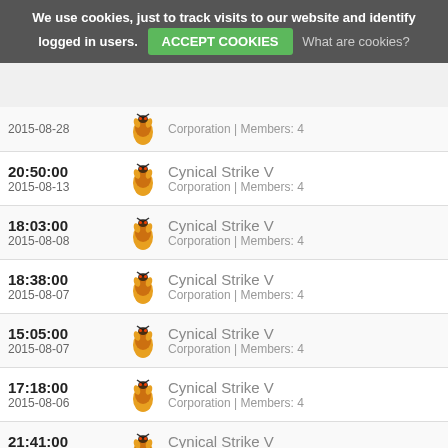We use cookies, just to track visits to our website and identify logged in users. ACCEPT COOKIES  What are cookies?
| Time/Date | Icon | Corporation | Info |
| --- | --- | --- | --- |
| 20:50:00 / 2015-08-13 |  | Cynical Strike V | Corporation | Members: 4 |
| 18:03:00 / 2015-08-08 |  | Cynical Strike V | Corporation | Members: 4 |
| 18:38:00 / 2015-08-07 |  | Cynical Strike V | Corporation | Members: 4 |
| 15:05:00 / 2015-08-07 |  | Cynical Strike V | Corporation | Members: 4 |
| 17:18:00 / 2015-08-06 |  | Cynical Strike V | Corporation | Members: 4 |
| 21:41:00 / 2015-07-31 |  | Cynical Strike V | Corporation | Members: 4 |
| 18:34:00 / 2015-07-28 |  | Cynical Strike V | Corporation | Members: 4 |
| 18:33:00 / 2015-07-28 |  | Cynical Strike V | Corporation | Members: 4 |
| 18:33:00 / 2015-07-28 |  | Cynical Strike V | Corporation | Members: 4 |
| 19:38:00 / ... |  | Cynical Strike V |  |